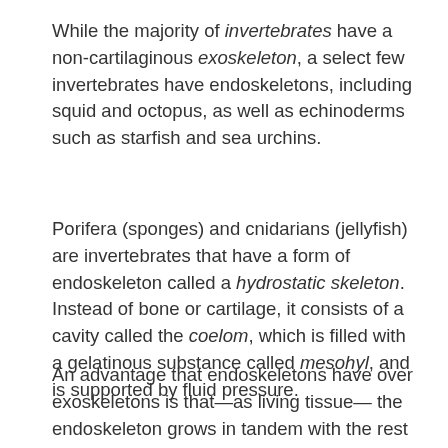While the majority of invertebrates have a non-cartilaginous exoskeleton, a select few invertebrates have endoskeletons, including squid and octopus, as well as echinoderms such as starfish and sea urchins.
Porifera (sponges) and cnidarians (jellyfish) are invertebrates that have a form of endoskeleton called a hydrostatic skeleton. Instead of bone or cartilage, it consists of a cavity called the coelom, which is filled with a gelatinous substance called mesohyl, and is supported by fluid pressure.
An advantage that endoskeletons have over exoskeletons is that—as living tissue— the endoskeleton grows in tandem with the rest of the body. In order to grow from infancy to adulthood, organisms with exoskeletons must shed or 'molt'